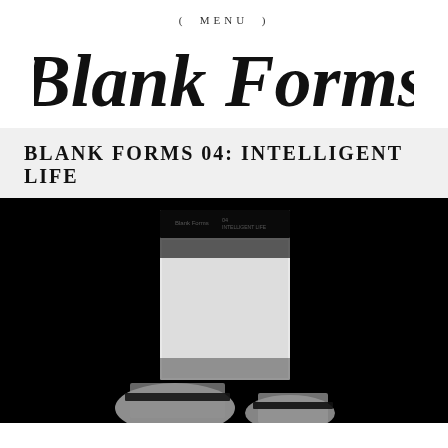( MENU )
Blank Forms
BLANK FORMS 04: INTELLIGENT LIFE
[Figure (photo): Black and white photo showing a book/publication with 'Blank Forms 04 INTELLIGENT LIFE' on its cover, with glowing laptop screens visible in the foreground at the bottom of a dark/black background studio setting.]